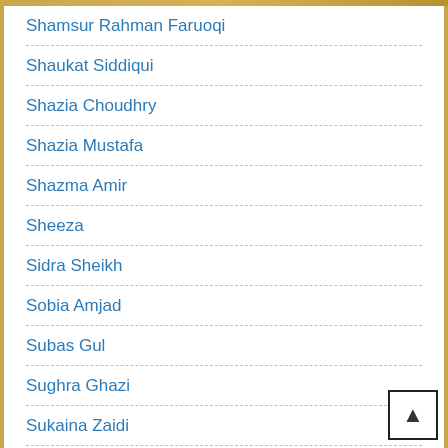Shamsur Rahman Faruoqi
Shaukat Siddiqui
Shazia Choudhry
Shazia Mustafa
Shazma Amir
Sheeza
Sidra Sheikh
Sobia Amjad
Subas Gul
Sughra Ghazi
Sukaina Zaidi
Sumaira Fayyaz